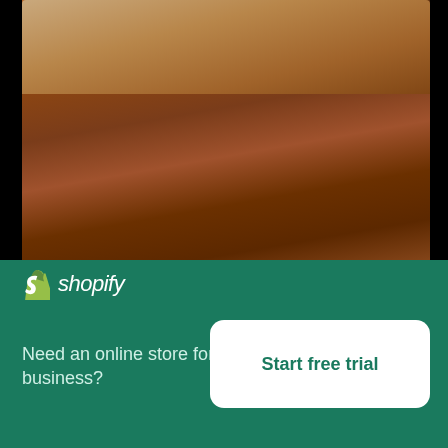[Figure (photo): Close-up photo of fresh unwrapped butter on a wooden kitchen table surface with warm tones]
Fresh Unwrapped Butter In A Sunny Kitchen
High resolution download ↓
[Figure (photo): Partial view of pizza and salad dishes]
[Figure (logo): Shopify logo — shopping bag icon with S and italic 'shopify' text]
Need an online store for your business?
Start free trial